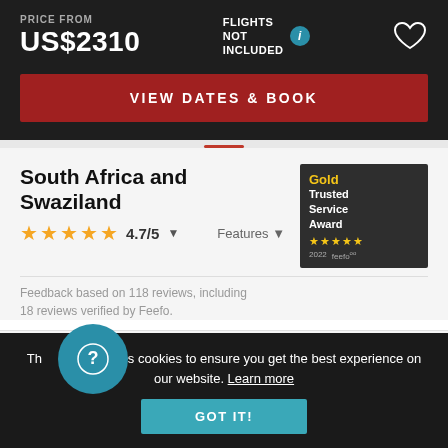PRICE FROM
US$2310
FLIGHTS NOT INCLUDED
VIEW DATES & BOOK
South Africa and Swaziland
4.7/5
Features
[Figure (other): Gold Trusted Service Award 2022 feefo badge with 5 stars]
Feedback based on 118 reviews, including 18 reviews verified by Feefo.
Reviews (118)
This site uses cookies to ensure you get the best experience on our website. Learn more
GOT IT!